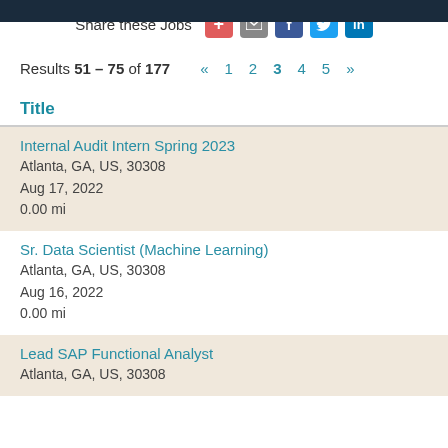Share these Jobs
Results 51 – 75 of 177  « 1 2 3 4 5 »
Title
Internal Audit Intern Spring 2023
Atlanta, GA, US, 30308
Aug 17, 2022
0.00 mi
Sr. Data Scientist (Machine Learning)
Atlanta, GA, US, 30308
Aug 16, 2022
0.00 mi
Lead SAP Functional Analyst
Atlanta, GA, US, 30308